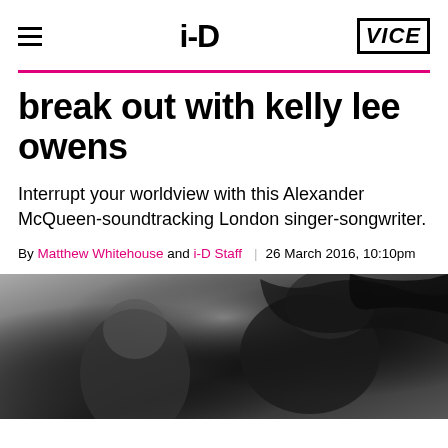i-D | VICE
break out with kelly lee owens
Interrupt your worldview with this Alexander McQueen-soundtracking London singer-songwriter.
By Matthew Whitehouse and i-D Staff | 26 March 2016, 10:10pm
[Figure (photo): Black and white photograph of a person, cropped showing upper body and hair, artistic close-up shot]